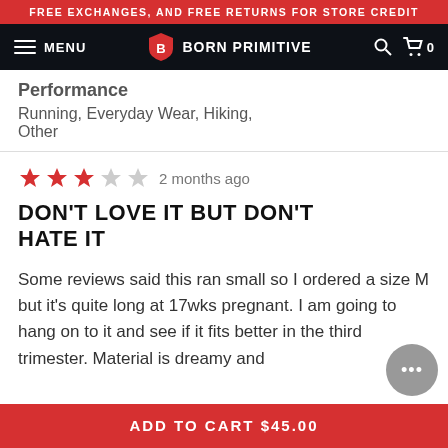FREE EXCHANGES, AND FREE RETURNS FOR STORE CREDIT
MENU BORN PRIMITIVE
Performance
Running, Everyday Wear, Hiking, Other
★★★☆☆ 2 months ago
DON'T LOVE IT BUT DON'T HATE IT
Some reviews said this ran small so I ordered a size M but it's quite long at 17wks pregnant. I am going to hang on to it and see if it fits better in the third trimester. Material is dreamy and
ADD TO CART $45.00